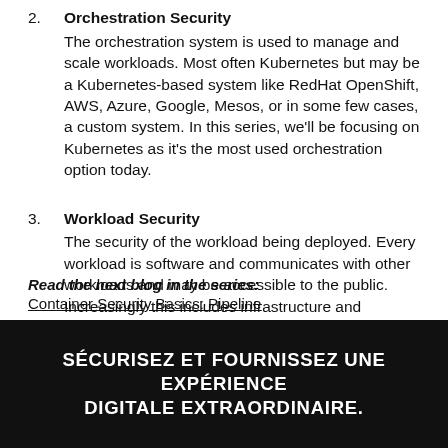2. Orchestration Security
The orchestration system is used to manage and scale workloads. Most often Kubernetes but may be a Kubernetes-based system like RedHat OpenShift, AWS, Azure, Google, Mesos, or in some few cases, a custom system. In this series, we'll be focusing on Kubernetes as it's the most used orchestration option today.
3. Workload Security
The security of the workload being deployed. Every workload is software and communicates with other workloads and may be accessible to the public. Increasingly this includes infrastructure and middleware.
Read the next blog in the series:
Container Security Basics: Pipeline
SÉCURISEZ ET FOURNISSEZ UNE EXPÉRIENCE DIGITALE EXTRAORDINAIRE.